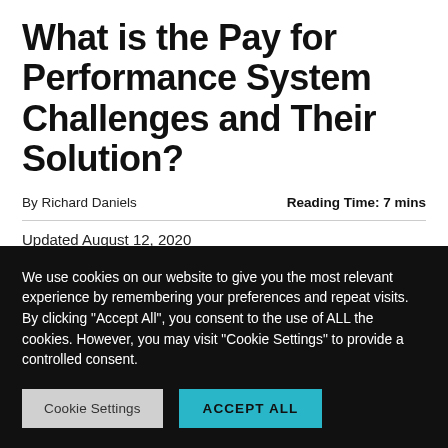What is the Pay for Performance System Challenges and Their Solution?
By Richard Daniels    Reading Time: 7 mins
Updated August 12, 2020
We use cookies on our website to give you the most relevant experience by remembering your preferences and repeat visits. By clicking “Accept All”, you consent to the use of ALL the cookies. However, you may visit "Cookie Settings" to provide a controlled consent.